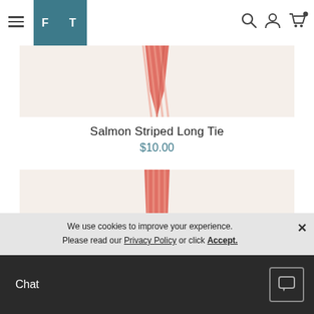FT [navigation header with hamburger menu, logo, search, user, and cart icons]
[Figure (photo): Salmon striped necktie product photo on light beige background — top portion of tie visible]
Salmon Striped Long Tie
$10.00
[Figure (photo): Second salmon striped necktie product photo on light beige background — bottom portion partially visible]
We use cookies to improve your experience. Please read our Privacy Policy or click Accept.
Chat